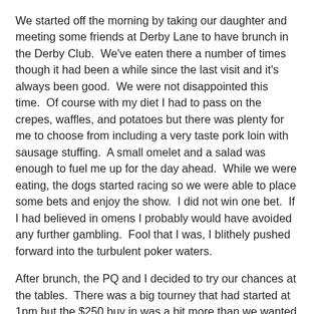We started off the morning by taking our daughter and meeting some friends at Derby Lane to have brunch in the Derby Club.  We've eaten there a number of times though it had been a while since the last visit and it's always been good.  We were not disappointed this time.  Of course with my diet I had to pass on the crepes, waffles, and potatoes but there was plenty for me to choose from including a very taste pork loin with sausage stuffing.  A small omelet and a salad was enough to fuel me up for the day ahead.  While we were eating, the dogs started racing so we were able to place some bets and enjoy the show.  I did not win one bet.  If I had believed in omens I probably would have avoided any further gambling.  Fool that I was, I blithely pushed forward into the turbulent poker waters.
After brunch, the PQ and I decided to try our chances at the tables.  There was a big tourney that had started at 1pm but the $250 buy in was a bit more than we wanted to bite off considering how little we've played but there was a $60 buy in tourney at 6pm that we thought about playing.  Till then it was time for some 1-2 NL holdem.